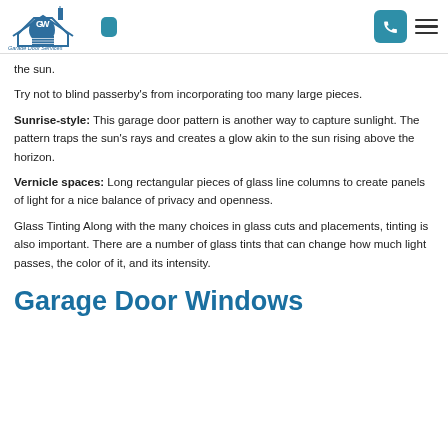Garage Door Services logo header with phone and menu
the sun.
Try not to blind passerby's from incorporating too many large pieces.
Sunrise-style: This garage door pattern is another way to capture sunlight. The pattern traps the sun's rays and creates a glow akin to the sun rising above the horizon.
Vernicle spaces: Long rectangular pieces of glass line columns to create panels of light for a nice balance of privacy and openness.
Glass Tinting Along with the many choices in glass cuts and placements, tinting is also important. There are a number of glass tints that can change how much light passes, the color of it, and its intensity.
Garage Door Windows